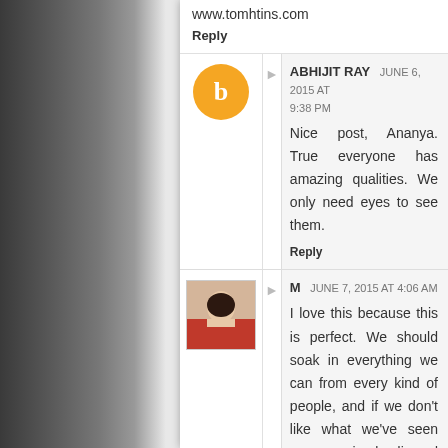www.tomhtins.com
Reply
ABHIJIT RAY  JUNE 6, 2015 AT 9:38 PM
Nice post, Ananya. True everyone has amazing qualities. We only need eyes to see them.
Reply
M  JUNE 7, 2015 AT 4:06 AM
I love this because this is perfect. We should soak in everything we can from every kind of people, and if we don't like what we've seen we can simply discard it. Experiences do make a person, and examples make a person, and we, as people, we can create ourselves to be whatever kind of person we want to be. I changed from that time period to...